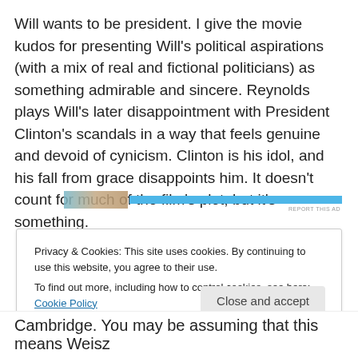Will wants to be president. I give the movie kudos for presenting Will's political aspirations (with a mix of real and fictional politicians) as something admirable and sincere. Reynolds plays Will's later disappointment with President Clinton's scandals in a way that feels genuine and devoid of cynicism. Clinton is his idol, and his fall from grace disappoints him. It doesn't count for much of the film's plot, but it's something.
[Figure (other): Advertisement bar with a thumbnail image and blue horizontal bar, with 'REPORT THIS AD' label]
Privacy & Cookies: This site uses cookies. By continuing to use this website, you agree to their use.
To find out more, including how to control cookies, see here: Cookie Policy
Close and accept
Cambridge. You may be assuming that this means Weisz